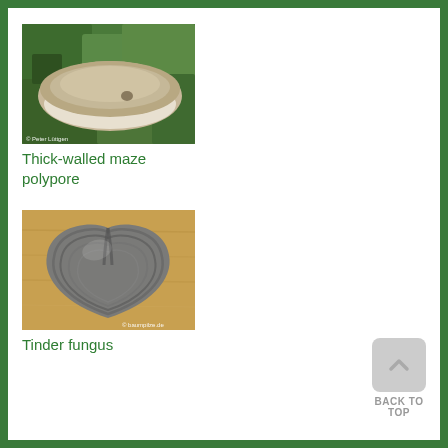[Figure (photo): A thick-walled maze polypore fungus growing on a tree trunk with green bark texture]
Thick-walled maze polypore
[Figure (photo): A tinder fungus bracket mushroom, heart-shaped with grey-brown concentric rings, sitting on a wooden surface]
Tinder fungus